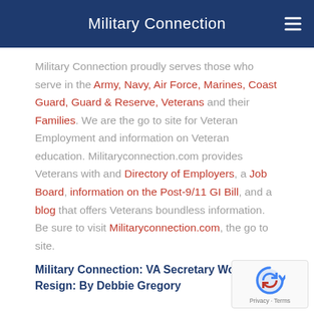Military Connection
Military Connection proudly serves those who serve in the Army, Navy, Air Force, Marines, Coast Guard, Guard & Reserve, Veterans and their Families. We are the go to site for Veteran Employment and information on Veteran education. Militaryconnection.com provides Veterans with and Directory of Employers, a Job Board, information on the Post-9/11 GI Bill, and a blog that offers Veterans boundless information. Be sure to visit Militaryconnection.com, the go to site.
Military Connection: VA Secretary Won't Resign: By Debbie Gregory